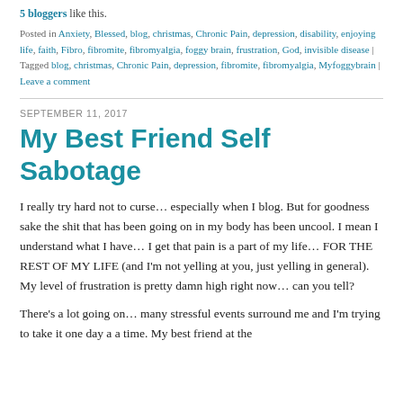5 bloggers like this.
Posted in Anxiety, Blessed, blog, christmas, Chronic Pain, depression, disability, enjoying life, faith, Fibro, fibromite, fibromyalgia, foggy brain, frustration, God, invisible disease | Tagged blog, christmas, Chronic Pain, depression, fibromite, fibromyalgia, Myfoggybrain | Leave a comment
SEPTEMBER 11, 2017
My Best Friend Self Sabotage
I really try hard not to curse… especially when I blog. But for goodness sake the shit that has been going on in my body has been uncool. I mean I understand what I have… I get that pain is a part of my life… FOR THE REST OF MY LIFE (and I'm not yelling at you, just yelling in general). My level of frustration is pretty damn high right now… can you tell?
There's a lot going on… many stressful events surround me and I'm trying to take it one day a a time. My best friend at the